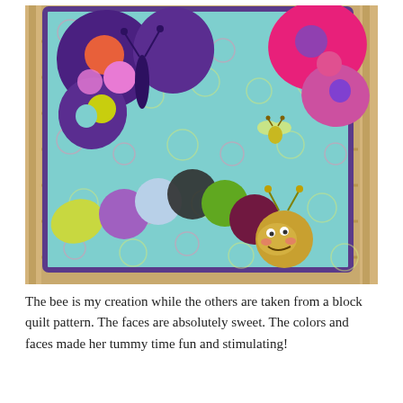[Figure (photo): A colorful children's quilt displayed on wooden crib slats. The quilt features appliqued insects including a large purple butterfly, a caterpillar made of multicolored circles with a cute face, a small bee/snail, and other bug shapes on a teal/aqua background with pink and yellow circular quilted patterns and a purple border.]
The bee is my creation while the others are taken from a block quilt pattern. The faces are absolutely sweet. The colors and faces made her tummy time fun and stimulating!